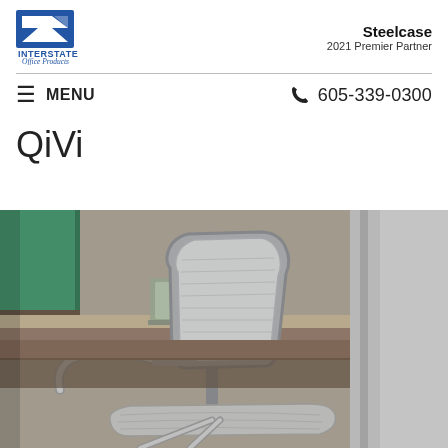[Figure (logo): Interstate Office Products logo with blue geometric design and cursive text]
Steelcase
2021 Premier Partner
≡  MENU
605-339-0300
QiVi
[Figure (photo): Close-up photo of a white/light gray mesh office chair (QiVi) with chrome frame, positioned in front of a wooden office desk with a laptop and monitor visible in the background, with a gray partition panel on the right.]